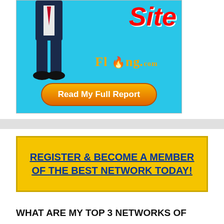[Figure (illustration): Advertisement banner for Fling.com showing a suited figure's legs from waist down, the word 'Site' in red bold italic text, the Fling.com logo in orange/gold, and an orange 'Read My Full Report' button on a bright blue background.]
REGISTER & BECOME A MEMBER OF THE BEST NETWORK TODAY!
WHAT ARE MY TOP 3 NETWORKS OF